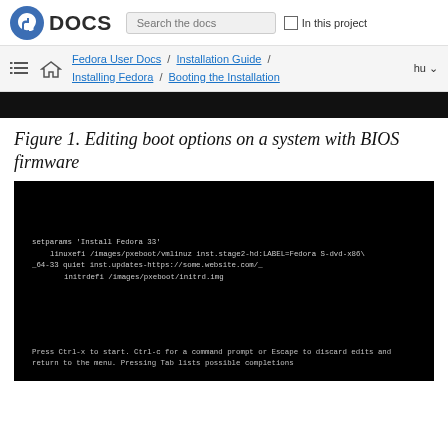Fedora DOCS | Search the docs | In this project
Fedora User Docs / Installation Guide / Installing Fedora / Booting the Installation | hu
[Figure (screenshot): Black banner/screenshot area at top]
Figure 1. Editing boot options on a system with BIOS firmware
[Figure (screenshot): Terminal screenshot showing GRUB/EFI boot editor with text: setparams 'Install Fedora 33' / linuxefi /images/pxeboot/vmlinuz inst.stage2-hd:LABEL=Fedora-S-dvd-x86\_64-33 quiet inst.updates-https://some.website.com/_ / initrdefi /images/pxeboot/initrd.img / Press Ctrl-x to start. Ctrl-c for a command prompt or Escape to discard edits and return to the menu. Pressing Tab lists possible completions]